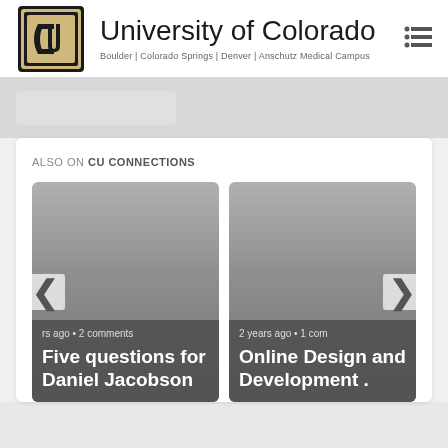University of Colorado | Boulder | Colorado Springs | Denver | Anschutz Medical Campus
ALSO ON CU CONNECTIONS
[Figure (screenshot): Article card with gray image and overlay text: 'rs ago • 2 comments' and title 'Five questions for Daniel Jacobson']
[Figure (screenshot): Article card with gray image and overlay text: '2 years ago • 1 com' and title 'Online Design and Development .']